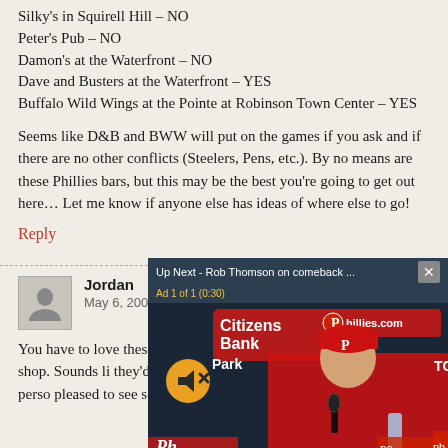Silky's in Squirell Hill – NO
Peter's Pub – NO
Damon's at the Waterfront – NO
Dave and Busters at the Waterfront – YES
Buffalo Wild Wings at the Pointe at Robinson Town Center – YES
Seems like D&B and BWW will put on the games if you ask and if there are no other conflicts (Steelers, Pens, etc.). By no means are these Phillies bars, but this may be the best you're going to get out here… Let me know if anyone else has ideas of where else to go!
Reply
Jordan
May 6, 2008
You have to love these Pitt and white pinstripes. Kimm your coffee shop. Sounds l they'd rather drink a Lanca over a latte (nothing perso pleased to see some home you/what's your major? Jul